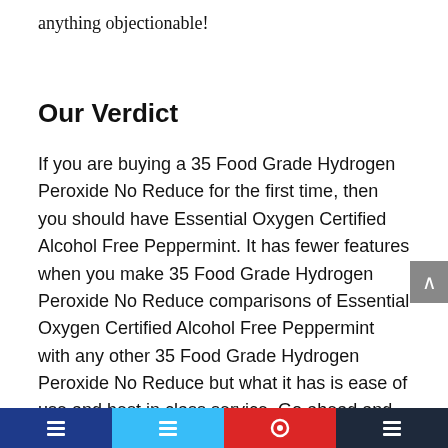anything objectionable!
Our Verdict
If you are buying a 35 Food Grade Hydrogen Peroxide No Reduce for the first time, then you should have Essential Oxygen Certified Alcohol Free Peppermint. It has fewer features when you make 35 Food Grade Hydrogen Peroxide No Reduce comparisons of Essential Oxygen Certified Alcohol Free Peppermint with any other 35 Food Grade Hydrogen Peroxide No Reduce but what it has is ease of use and best in class service. Go ahead and Grab a 35 Food Grade Hydrogen Peroxide No Reduce, grab any 35 Food Grade Hydrogen Peroxide No Reduce but if you are first time user